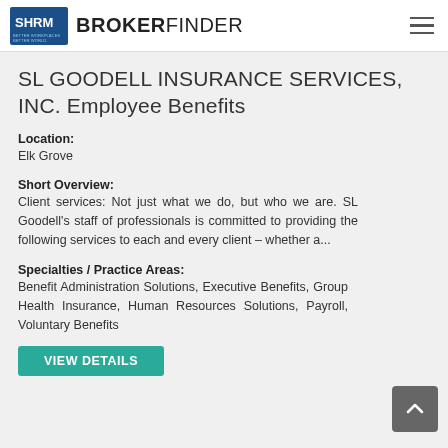SHRM BROKERFINDER
SL GOODELL INSURANCE SERVICES, INC. Employee Benefits
Location:
Elk Grove
Short Overview:
Client services: Not just what we do, but who we are. SL Goodell's staff of professionals is committed to providing the following services to each and every client – whether a...
Specialties / Practice Areas:
Benefit Administration Solutions, Executive Benefits, Group Health Insurance, Human Resources Solutions, Payroll, Voluntary Benefits
VIEW DETAILS